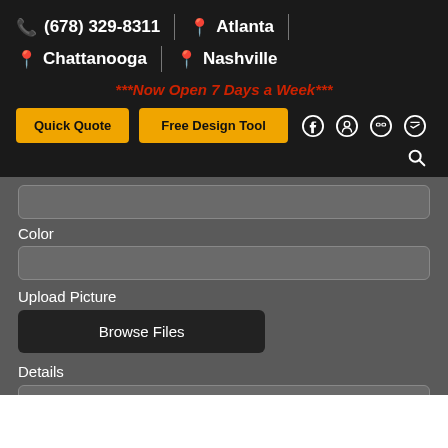(678) 329-8311 | Atlanta | Chattanooga | Nashville
***Now Open 7 Days a Week***
Quick Quote
Free Design Tool
Color
Upload Picture
Browse Files
Details